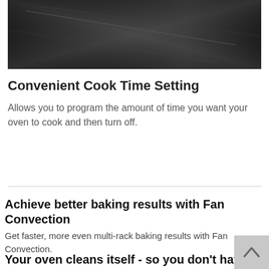[Figure (photo): Dark close-up photograph of oven/appliance surface with reflective black finish]
Convenient Cook Time Setting
Allows you to program the amount of time you want your oven to cook and then turn off.
Achieve better baking results with Fan Convection
Get faster, more even multi-rack baking results with Fan Convection.
Your oven cleans itself - so you don't have to with Self Clean
Self clean options available in convenient 2, 3 and 4-